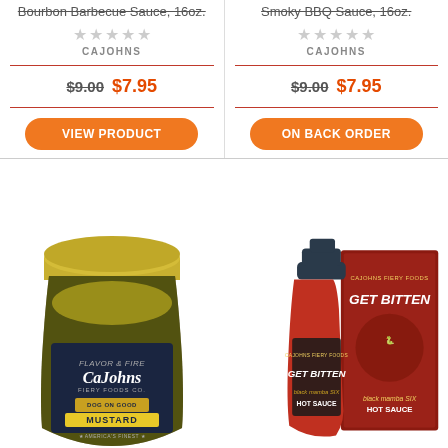Bourbon Barbecue Sauce, 16oz.
Smoky BBQ Sauce, 16oz.
CAJOHNS
CAJOHNS
$9.00 $7.95
$9.00 $7.95
VIEW PRODUCT
ON BACK ORDER
[Figure (photo): CaJohns Fiery Foods Co. Dog On Good Mustard jar with gold lid and dark label]
[Figure (photo): CaJohns Get Bitten Black Mamba Six Hot Sauce bottle and box]